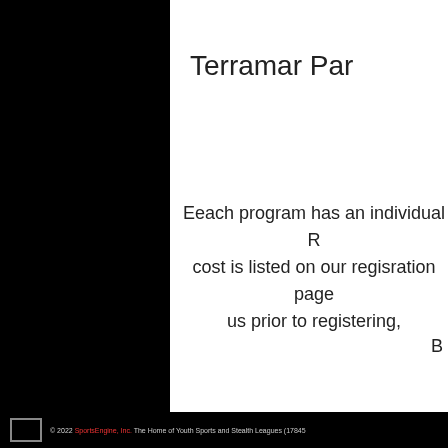Terramar Par
Eeach program has an individual R cost is listed on our regisration page us prior to registering,
B
© 2022 SportsEngine, Inc. The Home of Youth Sports and Stealth Leagues (17845